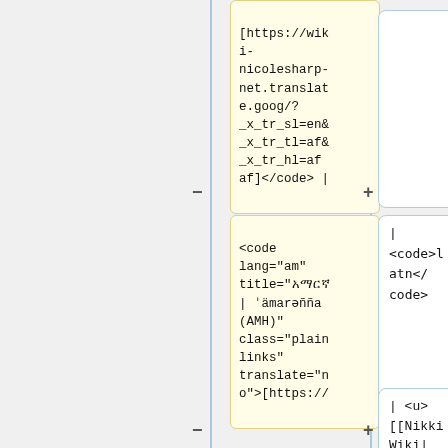[Figure (other): A diff/comparison view showing two columns of code blocks connected by vertical blue lines with − and + markers. Left column shows highlighted code snippets in yellow boxes, right column shows white rounded boxes with code content. Three rows of diff entries are visible.]